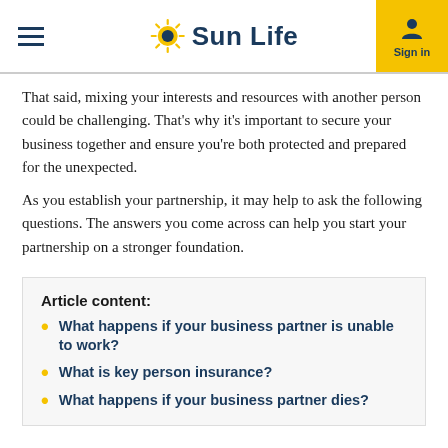Sun Life — Sign in
That said, mixing your interests and resources with another person could be challenging. That's why it's important to secure your business together and ensure you're both protected and prepared for the unexpected.
As you establish your partnership, it may help to ask the following questions. The answers you come across can help you start your partnership on a stronger foundation.
Article content:
What happens if your business partner is unable to work?
What is key person insurance?
What happens if your business partner dies?